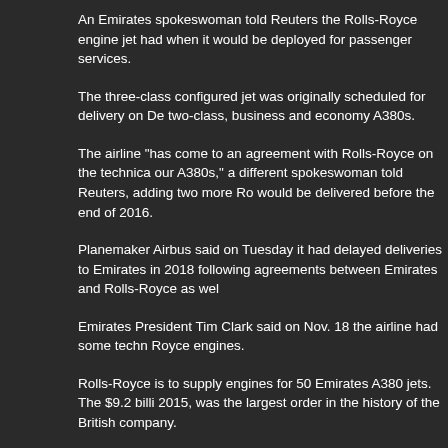An Emirates spokeswoman told Reuters the Rolls-Royce engine jet had when it would be deployed for passenger services.
The three-class configured jet was originally scheduled for delivery on De two-class, business and economy A380s.
The airline "has come to an agreement with Rolls-Royce on the technica our A380s," a different spokeswoman told Reuters, adding two more Ro would be delivered before the end of 2016.
Planemaker Airbus said on Tuesday it had delayed deliveries to Emirates in 2018 following agreements between Emirates and Rolls-Royce as wel
Emirates President Tim Clark said on Nov. 18 the airline had some techn Royce engines.
Rolls-Royce is to supply engines for 50 Emirates A380 jets. The $9.2 bili 2015, was the largest order in the history of the British company.
Emirates is the biggest operator of the A380 having ordered 142 of the s A380 fleet uses Engine Alliance, a joint venture of General Electric and R
(Alexander Cornwell - Reuters)